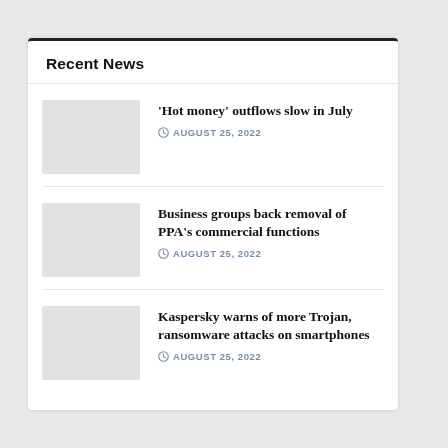Recent News
'Hot money' outflows slow in July — AUGUST 25, 2022
Business groups back removal of PPA's commercial functions — AUGUST 25, 2022
Kaspersky warns of more Trojan, ransomware attacks on smartphones — AUGUST 25, 2022